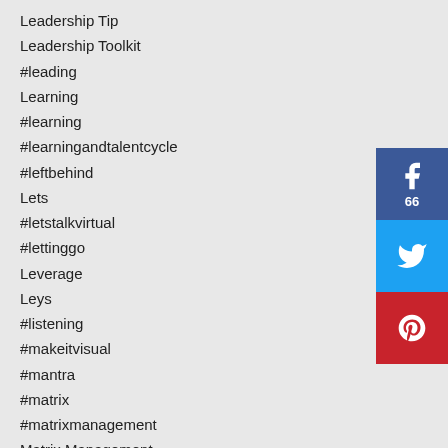Leadership Tip
Leadership Toolkit
#leading
Learning
#learning
#learningandtalentcycle
#leftbehind
Lets
#letstalkvirtual
#lettinggo
Leverage
Leys
#listening
#makeitvisual
#mantra
#matrix
#matrixmanagement
Matrix Management
#may